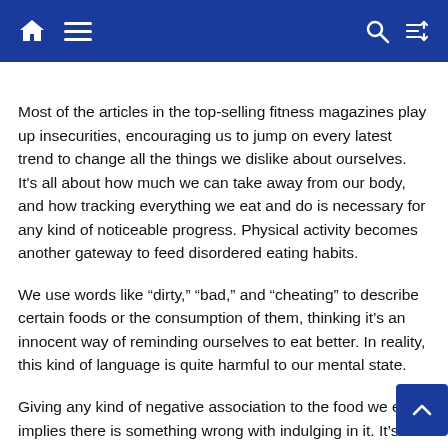navigation bar with home, menu, search, shuffle icons
Most of the articles in the top-selling fitness magazines play up insecurities, encouraging us to jump on every latest trend to change all the things we dislike about ourselves. It’s all about how much we can take away from our body, and how tracking everything we eat and do is necessary for any kind of noticeable progress. Physical activity becomes another gateway to feed disordered eating habits.
We use words like “dirty,” “bad,” and “cheating” to describe certain foods or the consumption of them, thinking it’s an innocent way of reminding ourselves to eat better. In reality, this kind of language is quite harmful to our mental state.
Giving any kind of negative association to the food we eat implies there is something wrong with indulging in it. It’s like a form of self-manipulation, because we are making ourselves feel bad for things